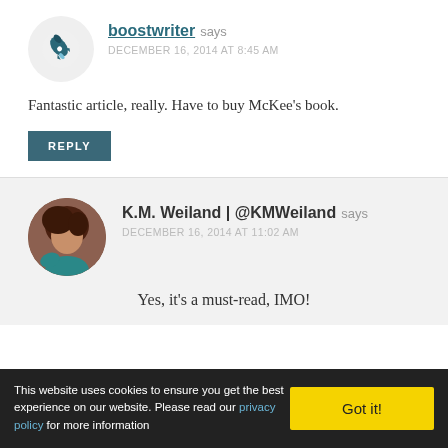boostwriter says DECEMBER 16, 2014 AT 8:45 AM
Fantastic article, really. Have to buy McKee's book.
REPLY
K.M. Weiland | @KMWeiland says DECEMBER 16, 2014 AT 11:02 AM
Yes, it’s a must-read, IMO!
This website uses cookies to ensure you get the best experience on our website. Please read our privacy policy for more information
Got it!